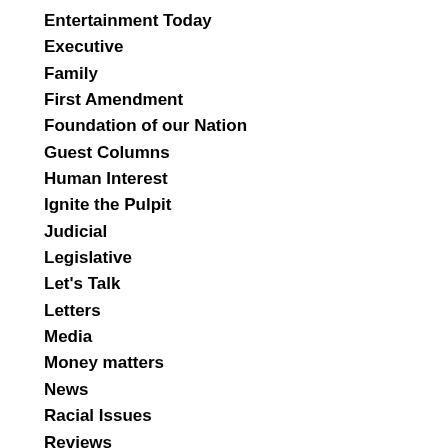Entertainment Today
Executive
Family
First Amendment
Foundation of our Nation
Guest Columns
Human Interest
Ignite the Pulpit
Judicial
Legislative
Let's Talk
Letters
Media
Money matters
News
Racial Issues
Reviews
Science
Sports